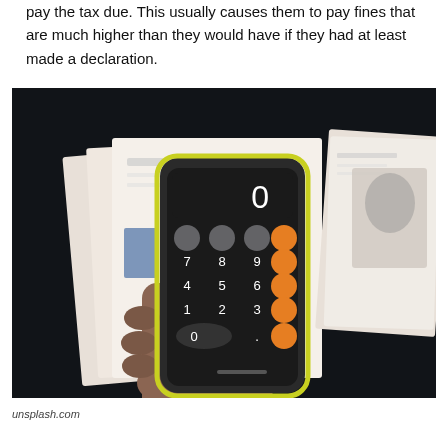pay the tax due. This usually causes them to pay fines that are much higher than they would have if they had at least made a declaration.
[Figure (photo): A hand holding a smartphone displaying the iOS calculator app with orange buttons, resting on top of documents/papers on a dark surface. Tax-related documents are visible in the background.]
unsplash.com